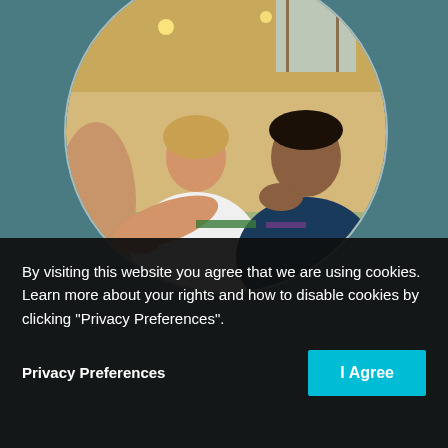[Figure (photo): Circular cropped photo of people in a meeting room. A woman with short blonde hair in a white top gestures with her hands, while a young dark-haired man in a navy shirt rests his chin on his hand and listens. Another person is partially visible on the left.]
By visiting this website you agree that we are using cookies. Learn more about your rights and how to disable cookies by clicking "Privacy Preferences".
Privacy Preferences
I Agree